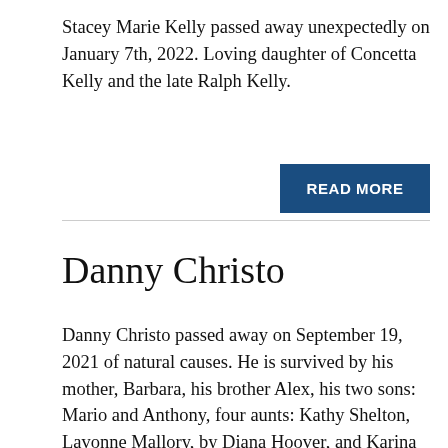Stacey Marie Kelly passed away unexpectedly on January 7th, 2022. Loving daughter of Concetta Kelly and the late Ralph Kelly.
READ MORE
Danny Christo
Danny Christo passed away on September 19, 2021 of natural causes. He is survived by his mother, Barbara, his brother Alex, his two sons: Mario and Anthony, four aunts: Kathy Shelton, Lavonne Mallory, by Diana Hoover, and Karina Romero, and